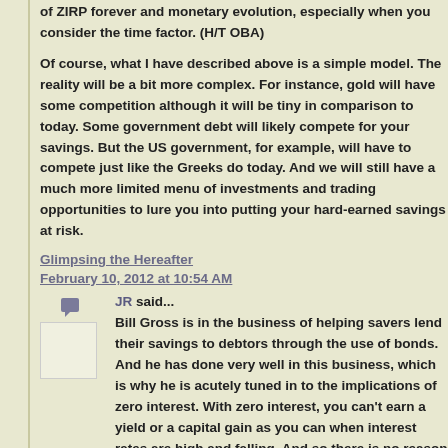of ZIRP forever and monetary evolution, especially when you consider the time factor. (H/T OBA)
Of course, what I have described above is a simple model. The reality will be a bit more complex. For instance, gold will have some competition although it will be tiny in comparison to today. Some government debt will likely compete for your savings. But the US government, for example, will have to compete just like the Greeks do today. And we will still have a much more limited menu of investments and trading opportunities to lure you into putting your hard-earned savings at risk.
Glimpsing the Hereafter
February 10, 2012 at 10:54 AM
JR said...
Bill Gross is in the business of helping savers lend their savings to debtors through the use of bonds. And he has done very well in this business, which is why he is acutely tuned in to the implications of zero interest. With zero interest, you can't earn a yield or a capital gain as you can when interest rates are high and falling. And so there is no reason for savers...